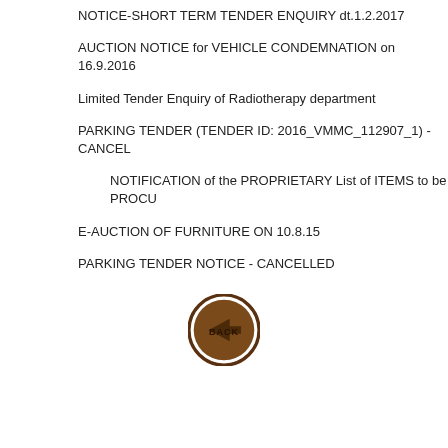NOTICE-SHORT TERM TENDER ENQUIRY dt.1.2.2017
AUCTION NOTICE for VEHICLE CONDEMNATION on 16.9.2016
Limited Tender Enquiry of Radiotherapy department
PARKING TENDER (TENDER ID: 2016_VMMC_112907_1) - CANCEL
NOTIFICATION of the PROPRIETARY List of ITEMS to be PROCU
E-AUCTION OF FURNITURE ON 10.8.15
PARKING TENDER NOTICE - CANCELLED
[Figure (illustration): A circular back button with dark brown border and brown background, containing a left-pointing arrow and the text BACK in brown/dark lettering]